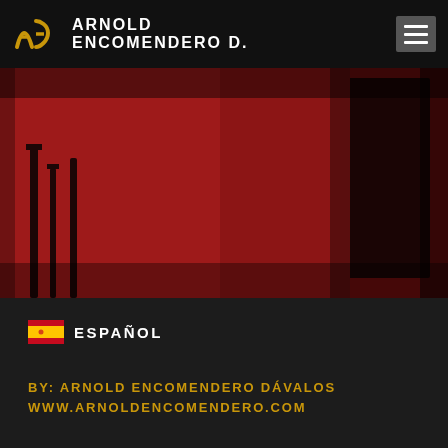ARNOLD ENCOMENDERO D.
[Figure (photo): Dark red-toned studio or room interior with dim lighting, silhouetted equipment stands on left and a dark panel/screen on the right]
🇪🇸 ESPAÑOL
BY: ARNOLD ENCOMENDERO DÁVALOS
WWW.ARNOLDENCOMENDERO.COM